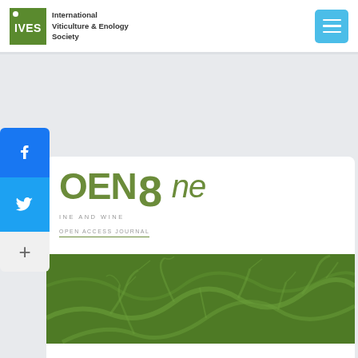IVES International Viticulture & Enology Society
[Figure (logo): IVES logo with green box and text 'International Viticulture & Enology Society']
[Figure (logo): OENOne - Grapevine and Wine Open Access Journal logo with large green stylized text]
[Figure (photo): Green banner image showing grapevine branches pattern]